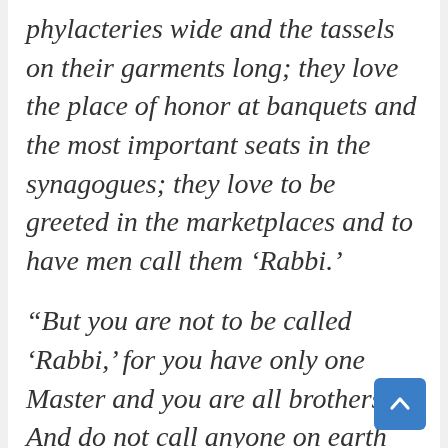phylacteries wide and the tassels on their garments long; they love the place of honor at banquets and the most important seats in the synagogues; they love to be greeted in the marketplaces and to have men call them ‘Rabbi.’
“But you are not to be called ‘Rabbi,’ for you have only one Master and you are all brothers.  And do not call anyone on earth ‘father,’ for you have one Father, and he is in heaven.  Don’t make others call you a leader